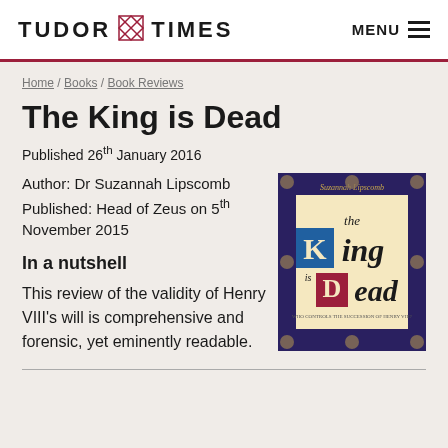TUDOR TIMES  MENU
Home / Books / Book Reviews
The King is Dead
Published 26th January 2016
Author: Dr Suzannah Lipscomb
Published: Head of Zeus on 5th November 2015
[Figure (illustration): Book cover of 'The King is Dead' by Suzannah Lipscomb, showing illuminated manuscript-style lettering with decorative medieval border.]
In a nutshell
This review of the validity of Henry VIII's will is comprehensive and forensic, yet eminently readable.